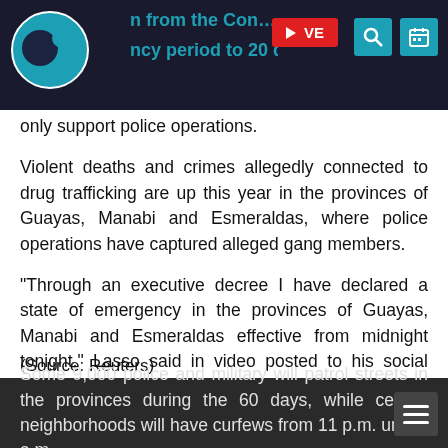...from the Constitutional Court...declared...emergency period to 20 days and said the... [LIVE] [Search] [Calendar]
only support police operations.
Violent deaths and crimes allegedly connected to drug trafficking are up this year in the provinces of Guayas, Manabi and Esmeraldas, where police operations have captured alleged gang members.
"Through an executive decree I have declared a state of emergency in the provinces of Guayas, Manabi and Esmeraldas effective from midnight tonight," Lasso said in video posted to his social media. "We protect life in every decision we take, in every corner of our country until all those who are violent have surrendered."
Some 9,000 police and military will patrol streets in the provinces during the 60 days, while certain neighborhoods will have curfews from 11 p.m. until 5 a.m.
(Source: Reuters)